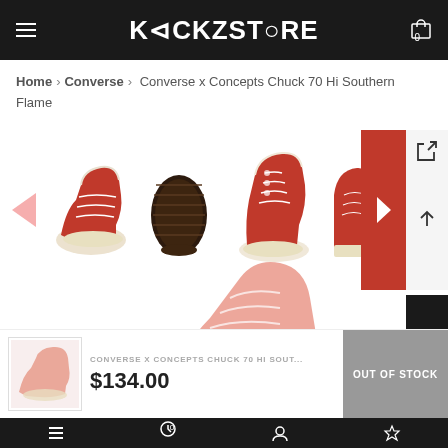KICKZSTORE
Home > Converse > Converse x Concepts Chuck 70 Hi Southern Flame
[Figure (photo): Four thumbnail views of Converse x Concepts Chuck 70 Hi Southern Flame sneaker: side view red high-top, sole view, front-side view, back view pair]
[Figure (photo): Partial red Converse sneaker shoe visible at bottom of page overlay]
CONVERSE X CONCEPTS CHUCK 70 HI SOUT...
$134.00
OUT OF STOCK
Bottom navigation bar